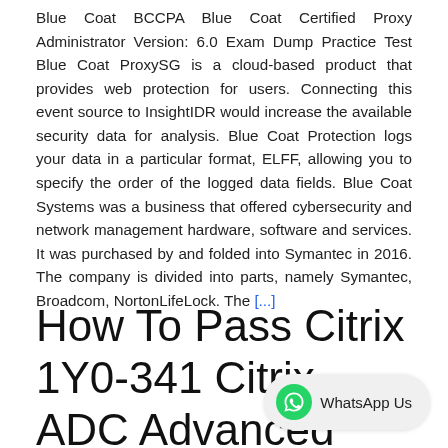Blue Coat BCCPA Blue Coat Certified Proxy Administrator Version: 6.0 Exam Dump Practice Test Blue Coat ProxySG is a cloud-based product that provides web protection for users. Connecting this event source to InsightIDR would increase the available security data for analysis. Blue Coat Protection logs your data in a particular format, ELFF, allowing you to specify the order of the logged data fields. Blue Coat Systems was a business that offered cybersecurity and network management hardware, software and services. It was purchased by and folded into Symantec in 2016. The company is divided into parts, namely Symantec, Broadcom, NortonLifeLock. The [...]
How To Pass Citrix 1Y0-341 Citrix ADC Advanced Topics - Security, Management...